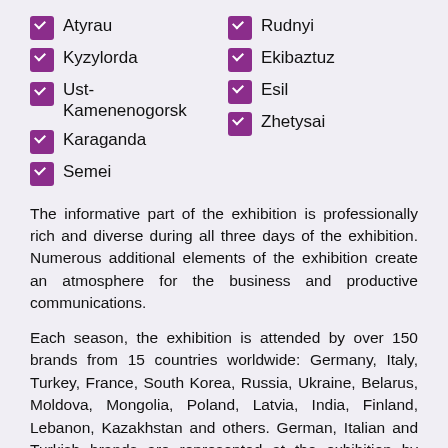Atyrau
Rudnyi
Kyzylorda
Ekibaztuz
Ust-Kamenenogorsk
Esil
Zhetysai
Karaganda
Semei
The informative part of the exhibition is professionally rich and diverse during all three days of the exhibition. Numerous additional elements of the exhibition create an atmosphere for the business and productive communications.
Each season, the exhibition is attended by over 150 brands from 15 countries worldwide: Germany, Italy, Turkey, France, South Korea, Russia, Ukraine, Belarus, Moldova, Mongolia, Poland, Latvia, India, Finland, Lebanon, Kazakhstan and others. German, Italian and Turkish brands are represepted at the exhibition by united collective